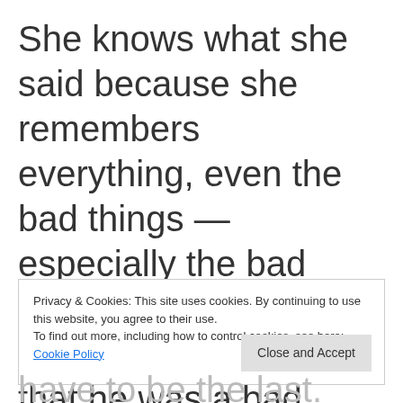She knows what she said because she remembers everything, even the bad things — especially the bad things. It wasn't that this was a bad thing or that he was a bad thing, it was
Privacy & Cookies: This site uses cookies. By continuing to use this website, you agree to their use.
To find out more, including how to control cookies, see here: Cookie Policy
Close and Accept
have to be the last. She had to